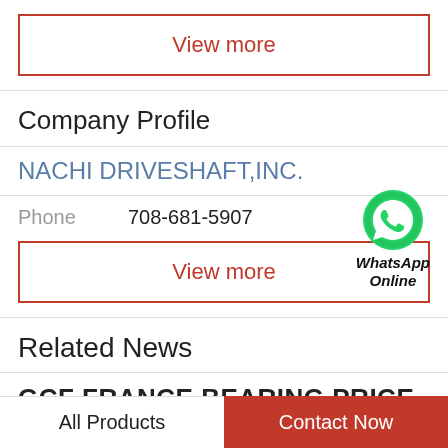View more
Company Profile
NACHI DRIVESHAFT,INC.
Phone   708-681-5907
[Figure (logo): WhatsApp green icon with WhatsApp Online text]
View more
Related News
GCF FRANCE BEARING PRICE LIST
All Products
Contact Now